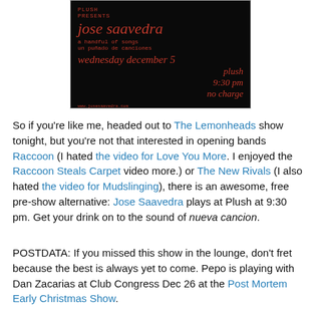[Figure (illustration): Concert poster for Jose Saavedra at Plush. Black background with red/crimson text. Text reads: PLUSH PRESENTS, jose saavedra, a handful of songs, un puñado de canciones, wednesday december 5, plush, 9:30 pm, no charge. URLs: www.josesaavedra.com and myspace.com/josepeposaavedra]
So if you're like me, headed out to The Lemonheads show tonight, but you're not that interested in opening bands Raccoon (I hated the video for Love You More. I enjoyed the Raccoon Steals Carpet video more.) or The New Rivals (I also hated the video for Mudslinging), there is an awesome, free pre-show alternative: Jose Saavedra plays at Plush at 9:30 pm. Get your drink on to the sound of nueva cancion.
POSTDATA: If you missed this show in the lounge, don't fret because the best is always yet to come. Pepo is playing with Dan Zacarias at Club Congress Dec 26 at the Post Mortem Early Christmas Show.